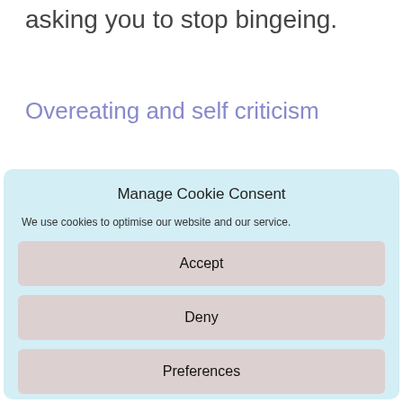asking you to stop bingeing.
Overeating and self criticism
Manage Cookie Consent
We use cookies to optimise our website and our service.
Accept
Deny
Preferences